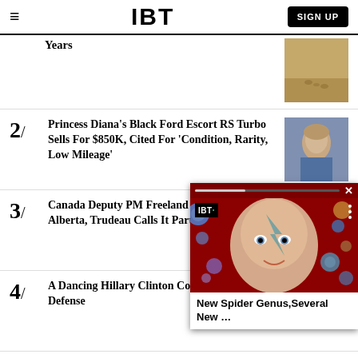IBT | SIGN UP
Years
2/ Princess Diana's Black Ford Escort RS Turbo Sells For $850K, Cited For 'Condition, Rarity, Low Mileage'
3/ Canada Deputy PM Freeland Abused In Alberta, Trudeau Calls It Part Of A Trend
4/ A Dancing Hillary Clinton Come... Leader's Defense
[Figure (screenshot): Video popup overlay showing IBT logo, thumbnail with face and colorful circles, caption: New Spider Genus,Several New ..., with close button X]